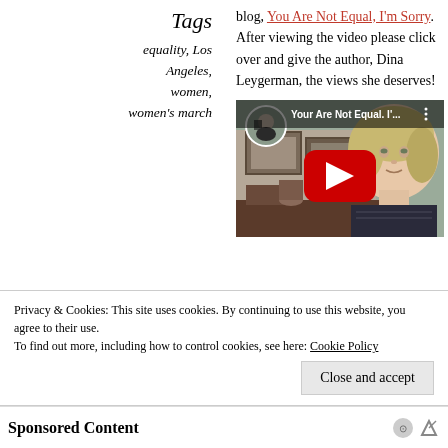Tags
equality, Los Angeles, women, women's march
blog, You Are Not Equal, I'm Sorry. After viewing the video please click over and give the author, Dina Leygerman, the views she deserves!
[Figure (screenshot): YouTube video thumbnail showing a woman with short blonde hair, titled 'Your Are Not Equal. I'...' with a red play button overlay and a circular profile picture in the top-left corner.]
Privacy & Cookies: This site uses cookies. By continuing to use this website, you agree to their use.
To find out more, including how to control cookies, see here: Cookie Policy
Close and accept
Sponsored Content